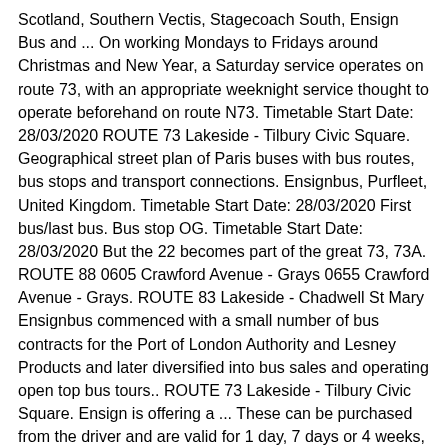Scotland, Southern Vectis, Stagecoach South, Ensign Bus and ... On working Mondays to Fridays around Christmas and New Year, a Saturday service operates on route 73, with an appropriate weeknight service thought to operate beforehand on route N73. Timetable Start Date: 28/03/2020 ROUTE 73 Lakeside - Tilbury Civic Square. Geographical street plan of Paris buses with bus routes, bus stops and transport connections. Ensignbus, Purfleet, United Kingdom. Timetable Start Date: 28/03/2020 First bus/last bus. Bus stop OG. Timetable Start Date: 28/03/2020 But the 22 becomes part of the great 73, 73A. ROUTE 88 0605 Crawford Avenue - Grays 0655 Crawford Avenue - Grays. ROUTE 83 Lakeside - Chadwell St Mary Ensignbus commenced with a small number of bus contracts for the Port of London Authority and Lesney Products and later diversified into bus sales and operating open top bus tours.. ROUTE 73 Lakeside - Tilbury Civic Square. Ensign is offering a ... These can be purchased from the driver and are valid for 1 day, 7 days or 4 weeks, Click on the map above to download a PDF version. From Monday 4 January until further notice, Ensignbus is operating an enhanced Saturday service